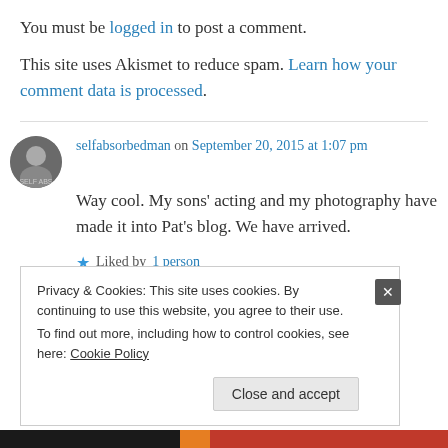You must be logged in to post a comment.
This site uses Akismet to reduce spam. Learn how your comment data is processed.
selfabsorbedman on September 20, 2015 at 1:07 pm
Way cool. My sons’ acting and my photography have made it into Pat’s blog. We have arrived.
★ Liked by 1 person
Privacy & Cookies: This site uses cookies. By continuing to use this website, you agree to their use.
To find out more, including how to control cookies, see here: Cookie Policy
Close and accept